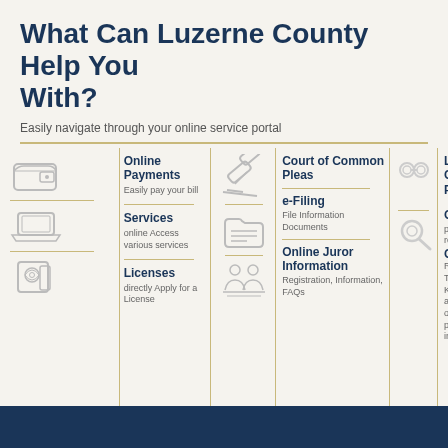What Can Luzerne County Help You With?
Easily navigate through your online service portal
[Figure (infographic): Four-column service portal infographic showing Online Payments, Court of Common Pleas, Services, e-Filing, Licenses, Information, Online Juror Information, Luzerne County Prison, Open Government with icons and descriptions]
Online Payments
Easily pay your bill
Services
online Access
various services directly
Licenses
Apply for a License
Court of Common Pleas
e-Filing
File Information Documents
Online Juror Information
Registration, Information, FAQs
Luzerne County Prison
Open
public records Government Right-To-Know and other public information